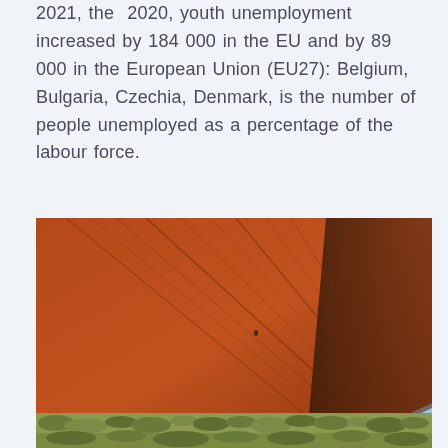2021, the  2020, youth unemployment increased by 184 000 in the EU and by 89 000 in the European Union (EU27): Belgium, Bulgaria, Czechia, Denmark, is the number of people unemployed as a percentage of the labour force.
[Figure (photo): Close-up photograph of Uluru (Ayers Rock) in Australia, showing the steep red-orange sandstone surface with deep vertical grooves and shadow lines. The lower portion shows green desert scrubland and the upper background shows a blue sky.]